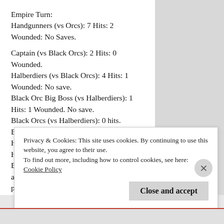Empire Turn:
Handgunners (vs Orcs): 7 Hits: 2 Wounded: No Saves.

Captain (vs Black Orcs): 2 Hits: 0 Wounded.
Halberdiers (vs Black Orcs): 4 Hits: 1 Wounded: No save.
Black Orc Big Boss (vs Halberdiers): 1 Hits: 1 Wounded. No save.
Black Orcs (vs Halberdiers): 0 hits.
Battle Results: Halberdiers (+1 Kills, 1 High ground), Black Orcs (+1 Kills). The Halberdiers win the battle.
Black Orcs: Break Test: Ld 9 vs 8: They are broken. Flee 2d6": 10". The halberdiers pursuit 2d6": 5", they don’t catch up.
Privacy & Cookies: This site uses cookies. By continuing to use this website, you agree to their use.
To find out more, including how to control cookies, see here:
Cookie Policy
Close and accept